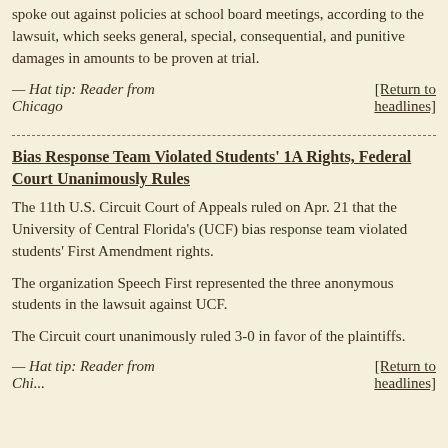spoke out against policies at school board meetings, according to the lawsuit, which seeks general, special, consequential, and punitive damages in amounts to be proven at trial.
— Hat tip: Reader from Chicago  [Return to headlines]
Bias Response Team Violated Students’ 1A Rights, Federal Court Unanimously Rules
The 11th U.S. Circuit Court of Appeals ruled on Apr. 21 that the University of Central Florida’s (UCF) bias response team violated students’ First Amendment rights.
The organization Speech First represented the three anonymous students in the lawsuit against UCF.
The Circuit court unanimously ruled 3-0 in favor of the plaintiffs.
— Hat tip: Reader from  [Return to headlines]